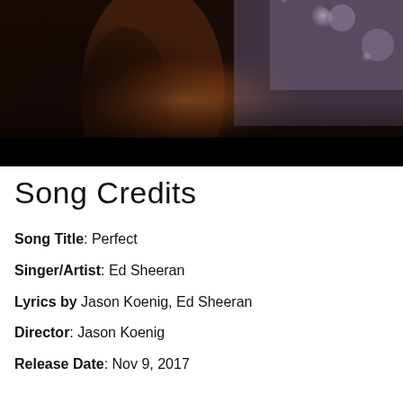[Figure (photo): Blurred cinematic photo with dark tones, orange/brown highlights, bokeh light effects in upper right, with a solid black bar at the bottom]
Song Credits
Song Title: Perfect
Singer/Artist: Ed Sheeran
Lyrics by Jason Koenig, Ed Sheeran
Director: Jason Koenig
Release Date: Nov 9, 2017